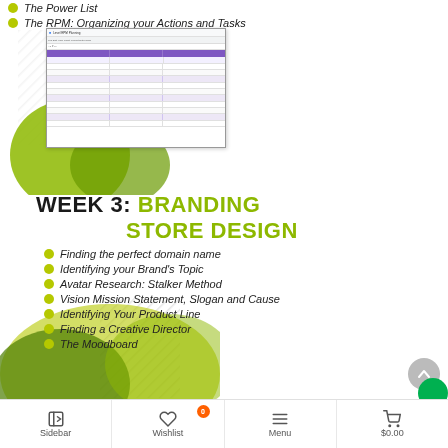The Power List
The RPM: Organizing your Actions and Tasks
[Figure (screenshot): Screenshot of a spreadsheet labeled 'Level RPM Planning' showing a Google Sheets document with rows of tasks and columns including categories and action items]
WEEK 3: BRANDING STORE DESIGN
Finding the perfect domain name
Identifying your Brand's Topic
Avatar Research: Stalker Method
Vision Mission Statement, Slogan and Cause
Identifying Your Product Line
Finding a Creative Director
The Moodboard
Sidebar  Wishlist 0  Menu  $0.00